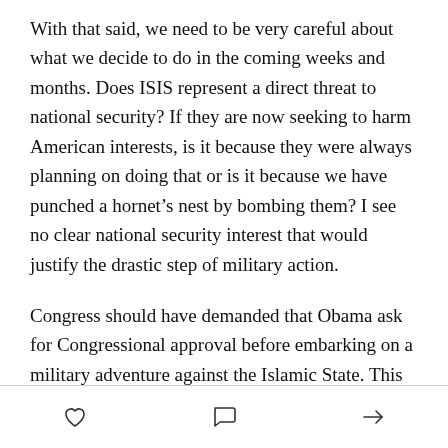With that said, we need to be very careful about what we decide to do in the coming weeks and months. Does ISIS represent a direct threat to national security? If they are now seeking to harm American interests, is it because they were always planning on doing that or is it because we have punched a hornet's nest by bombing them? I see no clear national security interest that would justify the drastic step of military action.
Congress should have demanded that Obama ask for Congressional approval before embarking on a military adventure against the Islamic State. This is true for Iraq, but is exponentially more so on Syria. One could make the argument that fighting in Iraq is a continuation of our mission there from 2003 onward,
[heart icon] [comment icon] [share icon]